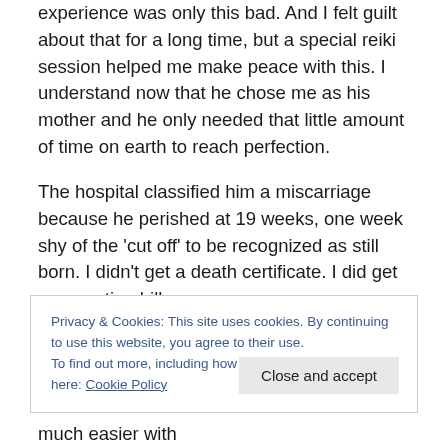experience was only this bad. And I felt guilt about that for a long time, but a special reiki session helped me make peace with this. I understand now that he chose me as his mother and he only needed that little amount of time on earth to reach perfection.
The hospital classified him a miscarriage because he perished at 19 weeks, one week shy of the 'cut off' to be recognized as still born. I didn't get a death certificate. I did get a cremation bill.
My grandma, who had 3 early miscarriages of her own,
Privacy & Cookies: This site uses cookies. By continuing to use this website, you agree to their use.
To find out more, including how to control cookies, see here: Cookie Policy
It was hard to be an invisible mother. It's much easier with